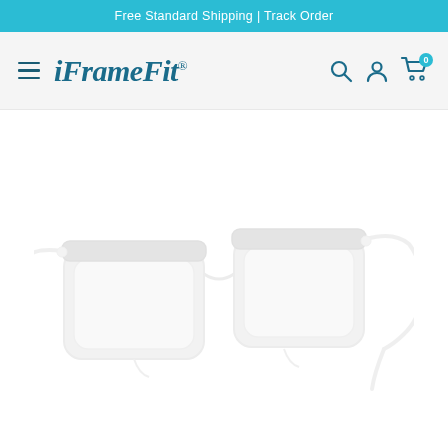Free Standard Shipping | Track Order
iFrameFit®
[Figure (photo): Browline style eyeglasses frames shown at a three-quarter angle on white background. The frames have a dark plastic/acetate upper portion and metal lower rims, transparent/white lenses, with extended temple arms visible.]